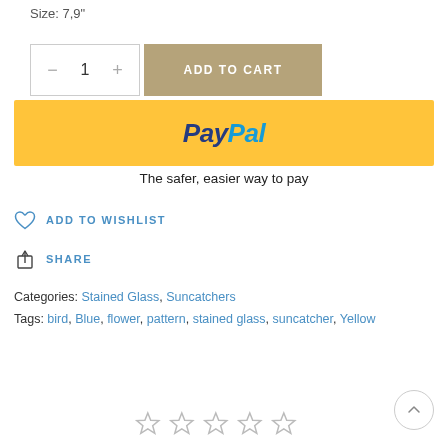Size: 7,9"
[Figure (other): Add to cart UI with quantity selector showing minus, 1, plus buttons and a tan 'ADD TO CART' button]
[Figure (other): PayPal payment button — yellow background with PayPal logo in blue italic text]
The safer, easier way to pay
ADD TO WISHLIST
SHARE
Categories: Stained Glass, Suncatchers
Tags: bird, Blue, flower, pattern, stained glass, suncatcher, Yellow
[Figure (other): Five empty star rating icons]